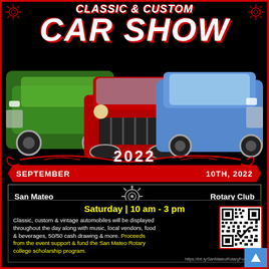Classic & Custom CAR SHOW
2022
SEPTEMBER   10th, 2022
San Mateo   Rotary Club
Saturday | 10 am - 3 pm
Classic, custom & vintage automobiles will be displayed throughout the day along with music, local vendors, food & beverages, 50/50 cash drawing & more. Proceeds from the event support & fund the San Mateo Rotary college scholarship program.
[Figure (photo): Three classic/custom cars: green car on left, red vintage car in center front, blue classic car on right]
[Figure (other): QR code linking to https://bit.ly/SanMateoRotaryFoundation]
https://bit.ly/SanMateoRotaryFoundation